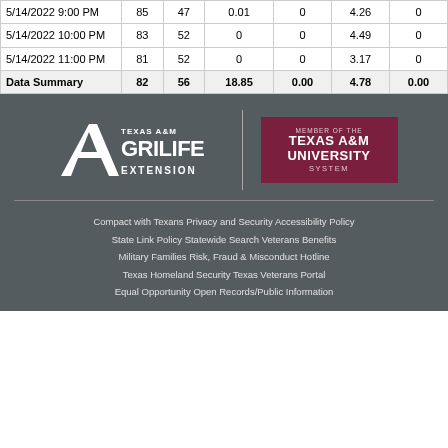| Date/Time | Temp | Humidity | Precip | Col5 | Col6 | Col7 |
| --- | --- | --- | --- | --- | --- | --- |
| 5/14/2022 9:00 PM | 85 | 47 | 0.01 | 0 | 4.26 | 0 |
| 5/14/2022 10:00 PM | 83 | 52 | 0 | 0 | 4.49 | 0 |
| 5/14/2022 11:00 PM | 81 | 52 | 0 | 0 | 3.17 | 0 |
| Data Summary | 82 | 56 | 18.85 | 0.00 | 4.78 | 0.00 |
[Figure (logo): Texas A&M AgriLife Extension logo and Member of the Texas A&M University System logo on dark grey background]
Compact with Texans  Privacy and Security  Accessibility Policy  State Link Policy  Statewide Search  Veterans Benefits  Military Families  Risk, Fraud & Misconduct Hotline  Texas Homeland Security  Texas Veterans Portal  Equal Opportunity  Open Records/Public Information